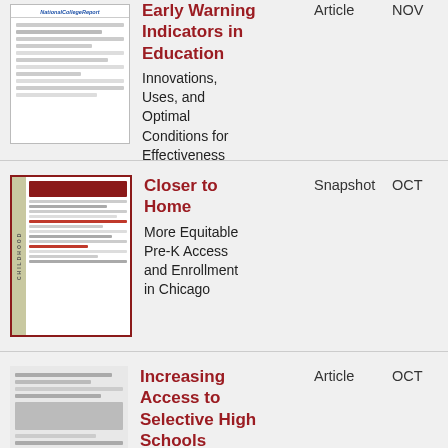[Figure (illustration): Thumbnail of a publication cover for 'Early Warning Indicators in Education' article]
Early Warning Indicators in Education
Innovations, Uses, and Optimal Conditions for Effectiveness
Article
NOV
[Figure (illustration): Thumbnail of a publication cover for 'Closer to Home' snapshot with CHILDHOOD sidebar]
Closer to Home
More Equitable Pre-K Access and Enrollment in Chicago
Snapshot
OCT
[Figure (illustration): Thumbnail of a publication cover for 'Increasing Access to Selective High Schools' article]
Increasing Access to Selective High Schools
through Pl…
Article
OCT